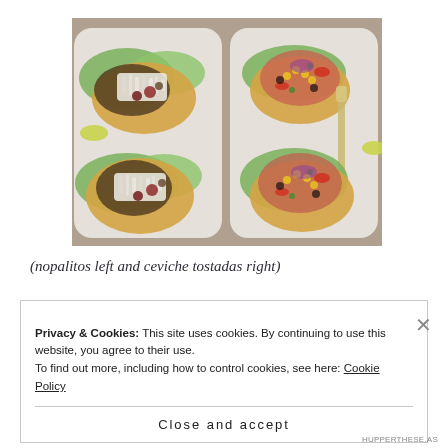[Figure (photo): Food photo showing two plates with tostadas: nopalitos tostadas on the left plate topped with shredded cheese and black beans, and ceviche tostadas on the right plate topped with colorful vegetable and seafood salsa, on white plates with lettuce garnish.]
(nopalitos left and ceviche tostadas right)
Privacy & Cookies: This site uses cookies. By continuing to use this website, you agree to their use.
To find out more, including how to control cookies, see here: Cookie Policy
Close and accept
HUPPERTHESE.AS